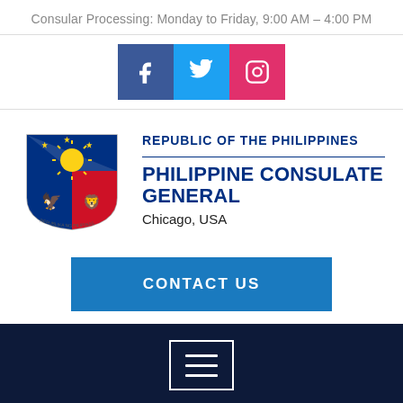Consular Processing: Monday to Friday, 9:00 AM – 4:00 PM
[Figure (infographic): Social media icons: Facebook (blue), Twitter (cyan), Instagram (pink)]
[Figure (logo): Seal of the Republic of the Philippines]
REPUBLIC OF THE PHILIPPINES
PHILIPPINE CONSULATE GENERAL
Chicago, USA
[Figure (infographic): CONTACT US blue button]
[Figure (infographic): Hamburger menu button with three horizontal lines, white border, on dark navy background]
[Figure (photo): Dark navy/blue photographic background at bottom of page]